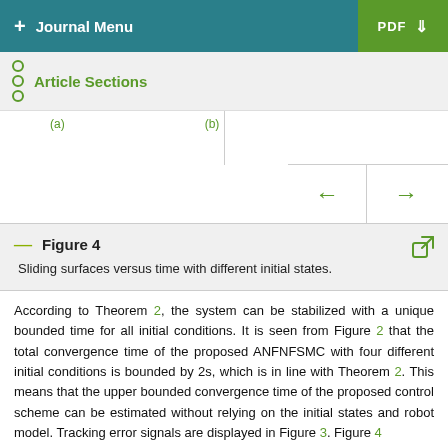+ Journal Menu  PDF
Article Sections
(a)  (b)
Figure 4
Sliding surfaces versus time with different initial states.
According to Theorem 2, the system can be stabilized with a unique bounded time for all initial conditions. It is seen from Figure 2 that the total convergence time of the proposed ANFNFSMC with four different initial conditions is bounded by 2s, which is in line with Theorem 2. This means that the upper bounded convergence time of the proposed control scheme can be estimated without relying on the initial states and robot model. Tracking error signals are displayed in Figure 3. Figure 4